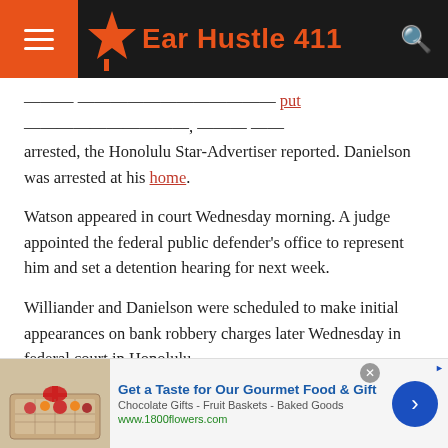Ear Hustle 411
...was also the subject of put option, also was arrested, the Honolulu Star-Advertiser reported. Danielson was arrested at his home.
Watson appeared in court Wednesday morning. A judge appointed the federal public defender’s office to represent him and set a detention hearing for next week.
Williander and Danielson were scheduled to make initial appearances on bank robbery charges later Wednesday in federal court in Honolulu.
Source: Huffington Post
[Figure (screenshot): Advertisement banner for 1800flowers.com - Get a Taste for Our Gourmet Food & Gift. Chocolate Gifts - Fruit Baskets - Baked Goods. www.1800flowers.com]